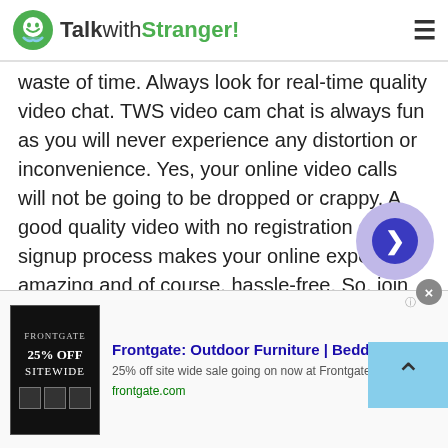TalkwithStranger!
waste of time. Always look for real-time quality video chat. TWS video cam chat is always fun as you will never experience any distortion or inconvenience. Yes, your online video calls will not be going to be dropped or crappy. A good quality video with no registration and signup process makes your online experience amazing and of course, hassle-free. So, join free cam chat now!
Group chat
Do you love chatting with multiple people online?
[Figure (screenshot): Advertisement banner for Frontgate: Outdoor Furniture | Bedding. 25% off site wide sale going on now at Frontgate.com. Shows frontgate.com URL in green.]